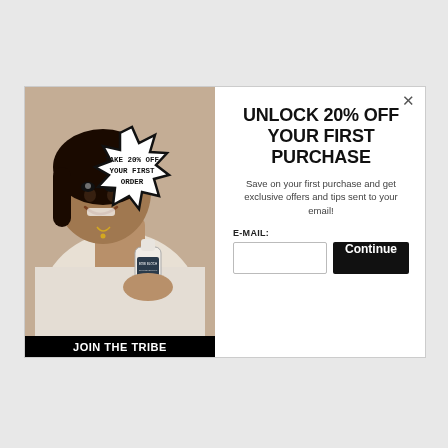[Figure (photo): Modal popup with a smiling woman holding a skincare product bottle, a starburst badge reading TAKE 20% OFF YOUR FIRST ORDER, and a JOIN THE TRIBE banner at bottom.]
UNLOCK 20% OFF YOUR FIRST PURCHASE
Save on your first purchase and get exclusive offers and tips sent to your email!
E-MAIL:
Continue